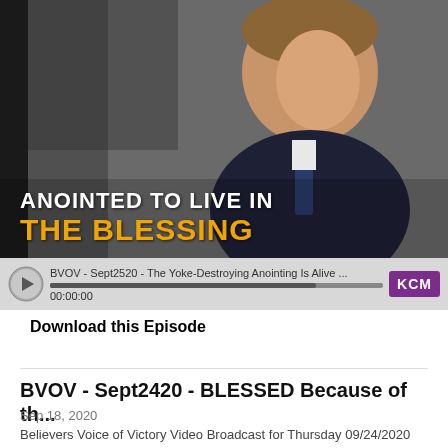[Figure (photo): Media player screenshot showing a man in a dark suit smiling, with text overlay 'ANOINTED TO LIVE IN THE BLESSING' and a KCM audio player bar at the bottom. Player shows 'BVOV - Sept2520 - The Yoke-Destroying Anointing Is Alive ...' at 00:00:00 with KCM logo badge.]
Download this Episode
BVOV - Sept2420 - BLESSED Because of th...
Sep 18, 2020
Believers Voice of Victory Video Broadcast for Thursday 09/24/2020